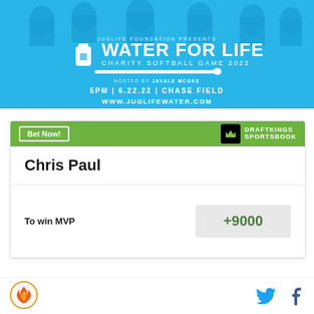[Figure (infographic): JugLife Foundation presents Water For Life Charity Softball Game 2022, hosted by JaVale McGee, 5PM | 6.22.22 | Chase Field, www.juglifewater.com, with basketball player silhouettes on light blue background]
| Player | Market | Odds |
| --- | --- | --- |
| Chris Paul | To win MVP | +9000 |
[Figure (logo): Site logo with flame icon in orange circle and DraftKings Sportsbook logo]